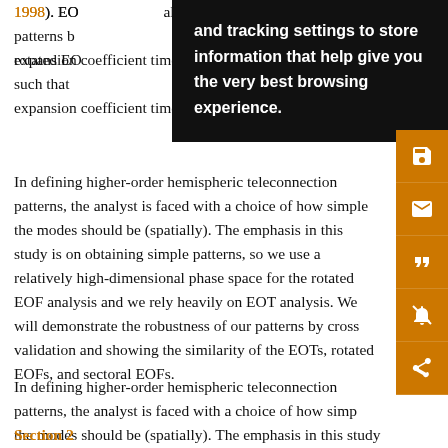1998). EOFs provide an alternative ...ed patterns b... rotated EO... ...ured such that ...ding expansion coefficient time series are mutually orthogon...
[Figure (screenshot): Dark tooltip/popup overlay showing cookie consent text: 'and tracking settings to store information that help give you the very best browsing experience.']
In defining higher-order hemispheric teleconnection patterns, the analyst is faced with a choice of how simple the modes should be (spatially). The emphasis in this study is on obtaining simple patterns, so we use a relatively high-dimensional phase space for the rotated EOF analysis and we rely heavily on EOT analysis. We will demonstrate the robustness of our patterns by cross validation and showing the similarity of the EOTs, rotated EOFs, and sectoral EOFs.
Section 2...